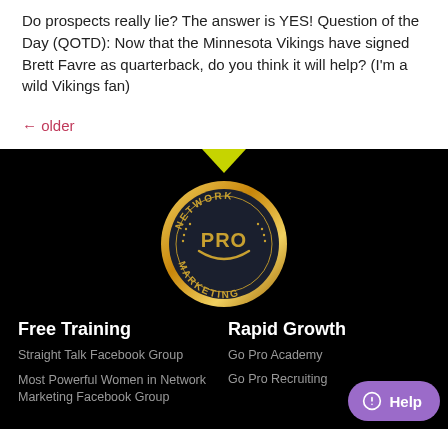Do prospects really lie? The answer is YES! Question of the Day (QOTD): Now that the Minnesota Vikings have signed Brett Favre as quarterback, do you think it will help? (I'm a wild Vikings fan)
← older
[Figure (logo): Network Marketing Pro circular badge/seal logo with gold ring on dark background]
Free Training
Rapid Growth
Straight Talk Facebook Group
Go Pro Academy
Most Powerful Women in Network Marketing Facebook Group
Go Pro Recruiting